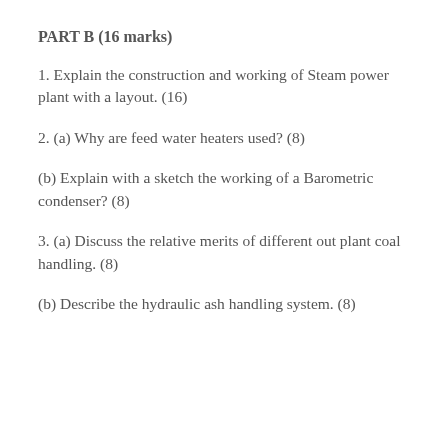PART B (16 marks)
1. Explain the construction and working of Steam power plant with a layout. (16)
2. (a) Why are feed water heaters used? (8)
(b) Explain with a sketch the working of a Barometric condenser? (8)
3. (a) Discuss the relative merits of different out plant coal handling. (8)
(b) Describe the hydraulic ash handling system. (8)